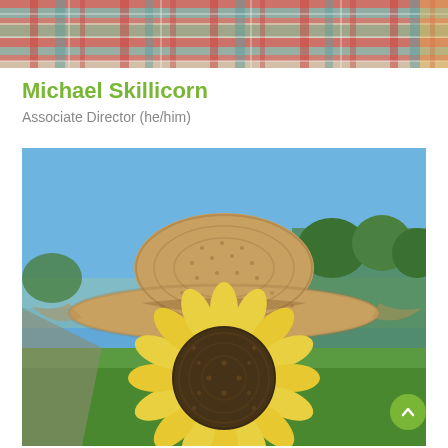[Figure (photo): Top portion of a photo showing plaid/checkered fabric in red, green, teal, and white patterns]
Michael Skillicorn
Associate Director (he/him)
[Figure (photo): Person holding a large sunflower in front of their face, wearing a wide-brimmed straw cowboy hat, with a blue sky and green trees/field in the background]